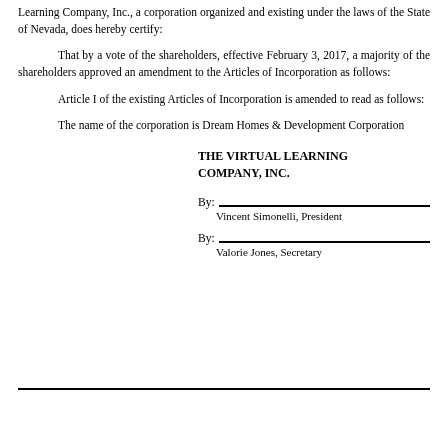Learning Company, Inc., a corporation organized and existing under the laws of the State of Nevada, does hereby certify:
That by a vote of the shareholders, effective February 3, 2017, a majority of the shareholders approved an amendment to the Articles of Incorporation as follows:
Article I of the existing Articles of Incorporation is amended to read as follows:
The name of the corporation is Dream Homes & Development Corporation
THE VIRTUAL LEARNING COMPANY, INC.
By: Vincent Simonelli, President
By: Valorie Jones, Secretary